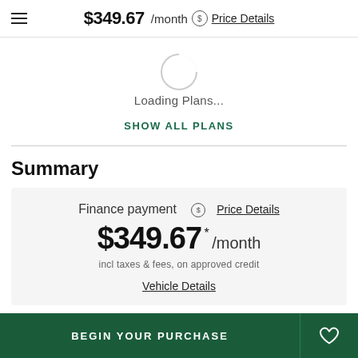$349.67 /month  Price Details
[Figure (illustration): Circular loading spinner (partial arc on grey circle)]
Loading Plans...
SHOW ALL PLANS
Summary
Finance payment  Price Details
$349.67 * /month
incl taxes & fees, on approved credit
Vehicle Details
BEGIN YOUR PURCHASE